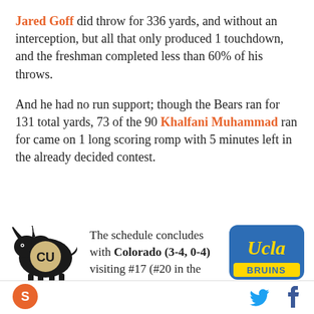Jared Goff did throw for 336 yards, and without an interception, but all that only produced 1 touchdown, and the freshman completed less than 60% of his throws.
And he had no run support; though the Bears ran for 131 total yards, 73 of the 90 Khalfani Muhammad ran for came on 1 long scoring romp with 5 minutes left in the already decided contest.
[Figure (logo): Colorado Buffaloes logo - golden buffalo with CU letters]
The schedule concludes with Colorado (3-4, 0-4) visiting #17 (#20 in the
[Figure (logo): UCLA Bruins logo - blue and gold script with BRUINS text]
[Figure (logo): SB Nation orange circular logo in footer]
[Figure (logo): Twitter bird icon in footer]
[Figure (logo): Facebook f icon in footer]